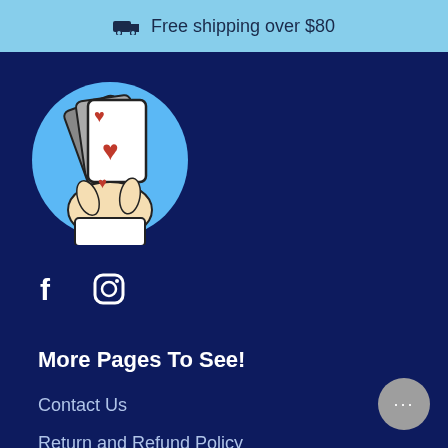🚚 Free shipping over $80
[Figure (illustration): A hand holding playing cards with heart symbols, inside a light blue circle, on a dark navy background. Logo for a card game shop.]
[Figure (illustration): Facebook and Instagram social media icons in white on a dark navy background.]
More Pages To See!
Contact Us
Return and Refund Policy
Privacy Policy
Terms of Service